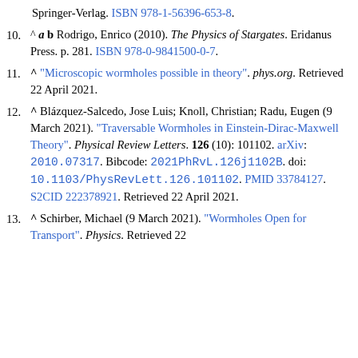9. (continued) Springer-Verlag. ISBN 978-1-56396-653-8.
10. ^ a b Rodrigo, Enrico (2010). The Physics of Stargates. Eridanus Press. p. 281. ISBN 978-0-9841500-0-7.
11. ^ "Microscopic wormholes possible in theory". phys.org. Retrieved 22 April 2021.
12. ^ Blázquez-Salcedo, Jose Luis; Knoll, Christian; Radu, Eugen (9 March 2021). "Traversable Wormholes in Einstein-Dirac-Maxwell Theory". Physical Review Letters. 126 (10): 101102. arXiv: 2010.07317. Bibcode: 2021PhRvL.126j1102B. doi: 10.1103/PhysRevLett.126.101102. PMID 33784127. S2CID 222378921. Retrieved 22 April 2021.
13. ^ Schirber, Michael (9 March 2021). "Wormholes Open for Transport". Physics. Retrieved 22